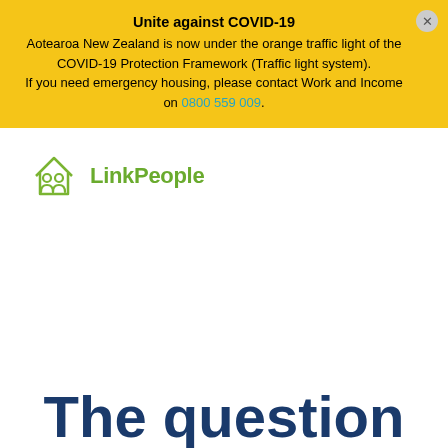Unite against COVID-19
Aotearoa New Zealand is now under the orange traffic light of the COVID-19 Protection Framework (Traffic light system).
If you need emergency housing, please contact Work and Income on 0800 559 009.
[Figure (logo): LinkPeople logo with two people inside a house icon in olive/green color, and the text 'LinkPeople' in green bold font]
The question